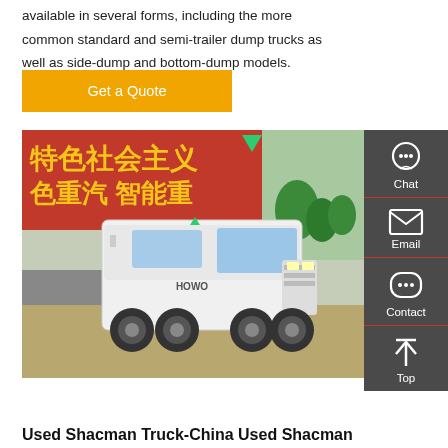available in several forms, including the more common standard and semi-trailer dump trucks as well as side-dump and bottom-dump models.
Get a Quote
[Figure (photo): A white HOWO tractor truck parked in front of a red banner with yellow Chinese text reading socialist themed slogans, with trees and a stone wall visible in background.]
Used Shacman Truck-China Used Shacman